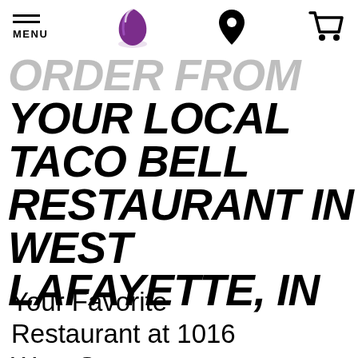MENU [Taco Bell logo] [location icon] [cart icon]
ORDER FROM YOUR LOCAL TACO BELL RESTAURANT IN WEST LAFAYETTE, IN
Your Favorite Restaurant at 1016 West Sagamore